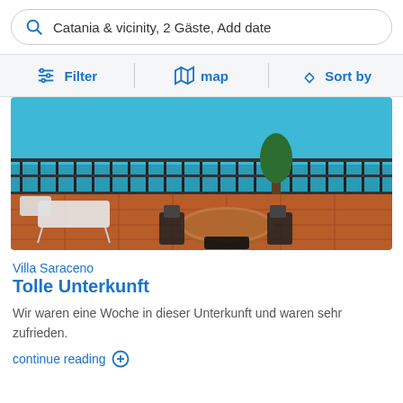Catania & vicinity, 2 Gäste, Add date
Filter  map  Sort by
[Figure (photo): Outdoor terrace with round table, chairs, and ocean view behind iron railing on a sunny day]
Villa Saraceno
Tolle Unterkunft
Wir waren eine Woche in dieser Unterkunft und waren sehr zufrieden.
continue reading